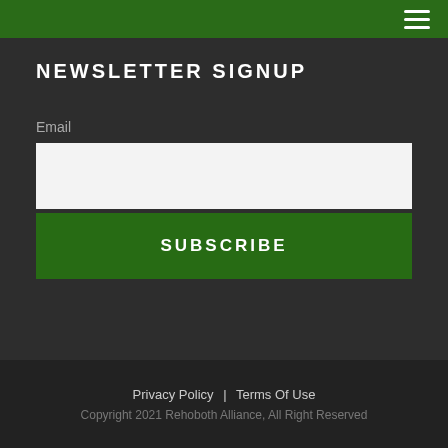Menu (hamburger icon)
NEWSLETTER SIGNUP
Email
SUBSCRIBE
Privacy Policy | Terms Of Use
Copyright 2021 Rehoboth Alliance, All Right Reserved